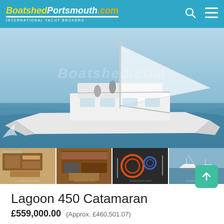BoatshedPortsmouth.com INTERNATIONAL YACHT BROKERS
[Figure (photo): Large catamaran sailing at sea with white hull, sails up, people on deck, blue water and sky background. Boatshed.com watermark visible.]
[Figure (photo): Interior of catamaran salon with seating and table]
[Figure (photo): Interior galley/kitchen area of catamaran]
[Figure (photo): Mechanical/equipment compartment showing ropes and gear]
[Figure (photo): Catamaran moored in harbour with other boats]
Lagoon 450 Catamaran
£559,000.00   (Approx. £460,501.07)